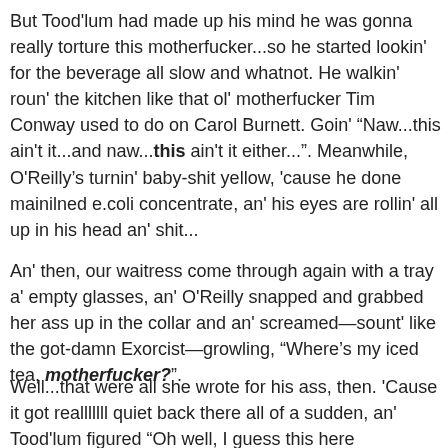But Tood'lum had made up his mind he was gonna really torture this motherfucker...so he started lookin' for the beverage all slow and whatnot. He walkin' roun' the kitchen like that ol' motherfucker Tim Conway used to do on Carol Burnett. Goin' “Naw...this ain't it...and naw...this ain't it either...”. Meanwhile, O'Reilly’s turnin' baby-shit yellow, 'cause he done mainilned e.coli concentrate, an' his eyes are rollin' all up in his head an' shit...
An' then, our waitress come through again with a tray a' empty glasses, an' O'Reilly snapped and grabbed her ass up in the collar and an' screamed—sount' like the got-damn Exorcist—growling, “Where’s my iced tea, motherfucker?”.
Well...that were all she wrote for his ass, then. 'Cause it got realllllll quiet back there all of a sudden, an' Tood'lum figured “Oh well, I guess this here motherfucker can't find a tall buildin' to jump off or nothin'”—guess I'll fulfill his death wish for him.” So he reached over by the stove for a metal pitcher, and handed it to O'Reilly 'an said, “Here it is right here, sir.” He snatched that shit away, and started guzzlin' it down like it were ice-cold lemonade in August—'cept it wasn't. And it